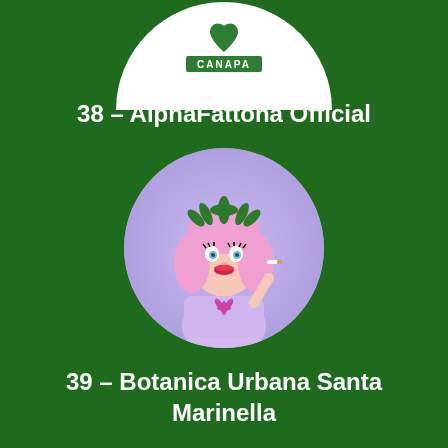[Figure (logo): Partial white circle with a heart/logo and text CANAPA visible at top of page]
38 – AlphaFattona Official
[Figure (illustration): Circular avatar illustration of an animated girl with pink hair and cannabis leaf crown, wearing a light purple shirt with a cannabis leaf, holding a cigarette]
39 – Botanica Urbana Santa Marinella